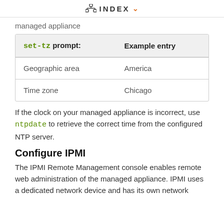INDEX
managed appliance
| set-tz prompt: | Example entry |
| --- | --- |
| Geographic area | America |
| Time zone | Chicago |
If the clock on your managed appliance is incorrect, use ntpdate to retrieve the correct time from the configured NTP server.
Configure IPMI
The IPMI Remote Management console enables remote web administration of the managed appliance. IPMI uses a dedicated network device and has its own network